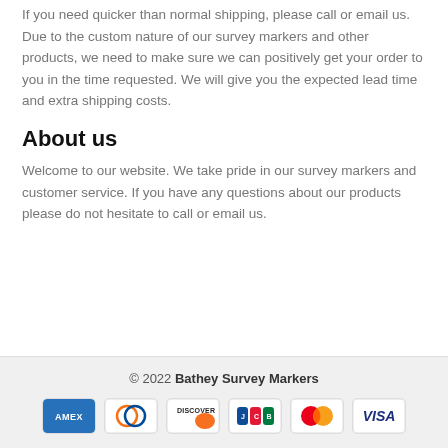If you need quicker than normal shipping, please call or email us. Due to the custom nature of our survey markers and other products, we need to make sure we can positively get your order to you in the time requested. We will give you the expected lead time and extra shipping costs.
About us
Welcome to our website. We take pride in our survey markers and customer service. If you have any questions about our products please do not hesitate to call or email us.
© 2022 Bathey Survey Markers